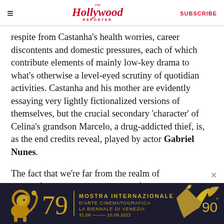The Hollywood Reporter | SUBSCRIBE
respite from Castanha’s health worries, career discontents and domestic pressures, each of which contribute elements of mainly low-key drama to what’s otherwise a level-eyed scrutiny of quotidian activities. Castanha and his mother are evidently essaying very lightly fictionalized versions of themselves, but the crucial secondary ‘character’ of Celina’s grandson Marcelo, a drug-addicted thief, is, as the end credits reveal, played by actor Gabriel Nunes.
The fact that we’re far from the realm of straightforward verite is signalled from the striking
[Figure (other): Advertisement banner for Mostra Internazionale d'Arte Cinematografica La Biennale di Venezia (Venice Film Festival), 79th edition, 31.08 - 10.09.2022, showing a golden lion and phoenix imagery with '90' anniversary mark]